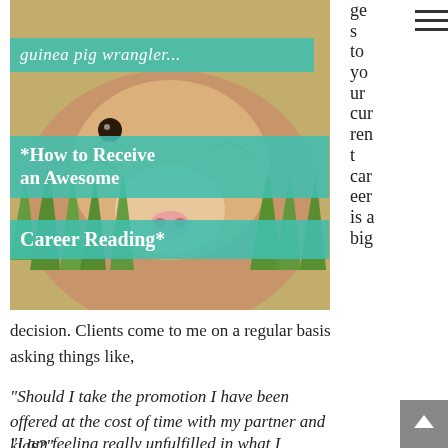[Figure (photo): Photo of a guinea pig close-up with teal banner overlays reading 'guinea pig wrangler...', '*How to Receive an Awesome Career Reading*']
ges to your current career is a big decision. Clients come to me on a regular basis asking things like,
“Should I take the promotion I have been offered at the cost of time with my partner and kids?”
“I am feeling really unfulfilled in what I